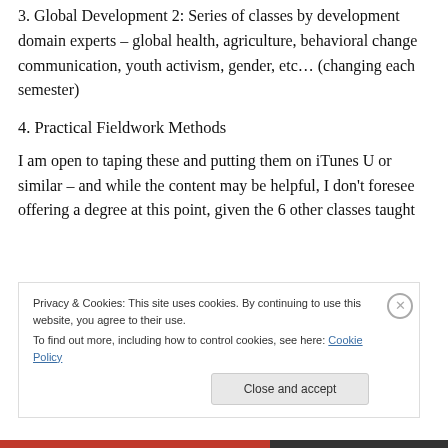3. Global Development 2: Series of classes by development domain experts – global health, agriculture, behavioral change communication, youth activism, gender, etc… (changing each semester)
4. Practical Fieldwork Methods
I am open to taping these and putting them on iTunes U or similar – and while the content may be helpful, I don't foresee offering a degree at this point, given the 6 other classes taught
Privacy & Cookies: This site uses cookies. By continuing to use this website, you agree to their use.
To find out more, including how to control cookies, see here: Cookie Policy